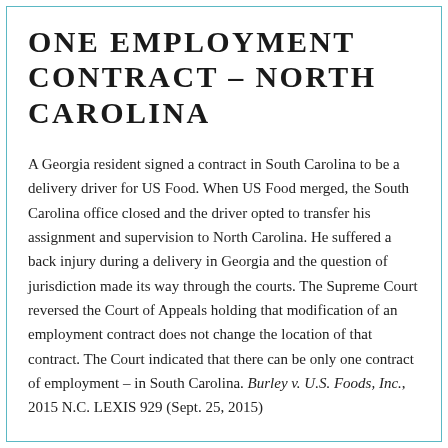One Employment Contract – North Carolina
A Georgia resident signed a contract in South Carolina to be a delivery driver for US Food. When US Food merged, the South Carolina office closed and the driver opted to transfer his assignment and supervision to North Carolina. He suffered a back injury during a delivery in Georgia and the question of jurisdiction made its way through the courts. The Supreme Court reversed the Court of Appeals holding that modification of an employment contract does not change the location of that contract. The Court indicated that there can be only one contract of employment – in South Carolina. Burley v. U.S. Foods, Inc., 2015 N.C. LEXIS 929 (Sept. 25, 2015)